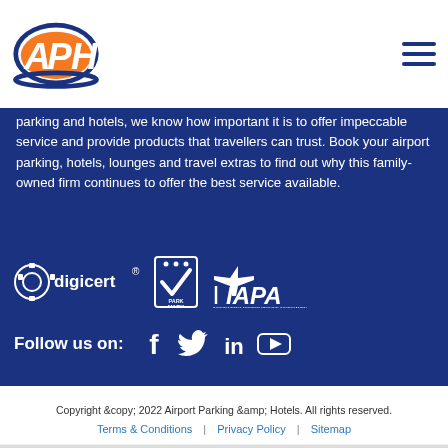[Figure (logo): APH Airport Parking & Hotels logo - orange and blue oval with APH text]
parking and hotels, we know how important it is to offer impeccable service and provide products that travellers can trust. Book your airport parking, hotels, lounges and travel extras to find out why this family-owned firm continues to offer the best service available.
[Figure (logo): Three certification logos: DigiCert, Park Mark, and IAPA (Independent Airport Parking Association)]
Follow us on:
[Figure (infographic): Social media icons: Facebook, Twitter, LinkedIn, YouTube]
Copyright &copy; 2022 Airport Parking &amp; Hotels. All rights reserved.
Terms & Conditions | Privacy Policy | Sitemap